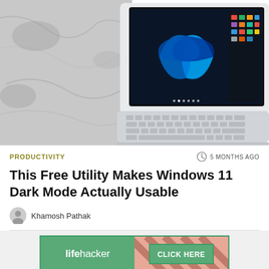[Figure (photo): Photo of a white laptop with Windows 11 start menu displayed on screen, keyboard visible in foreground, marble-like surface in background]
PRODUCTIVITY
5 MONTHS AGO
This Free Utility Makes Windows 11 Dark Mode Actually Usable
Khamosh Pathak
[Figure (infographic): Lifehacker advertisement banner with green background, lifehacker logo on left and CLICK HERE button on right with diagonal stripe pattern]